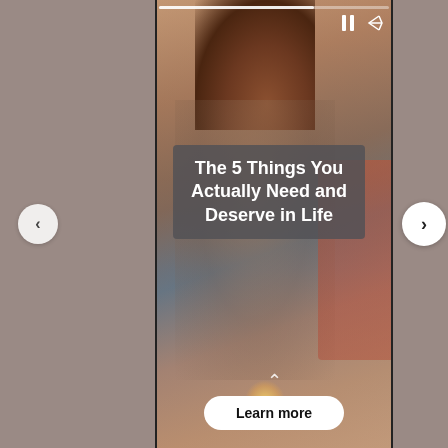[Figure (photo): Screenshot of a social media story showing a woman with red/auburn hair from behind, standing at a beach/rocky area, wearing a denim outfit, with warm sunset lighting. The story interface shows a progress bar at top, pause and share icons, navigation arrows on both sides, a title overlay box, an upward caret, and a Learn more button at the bottom.]
The 5 Things You Actually Need and Deserve in Life
Learn more